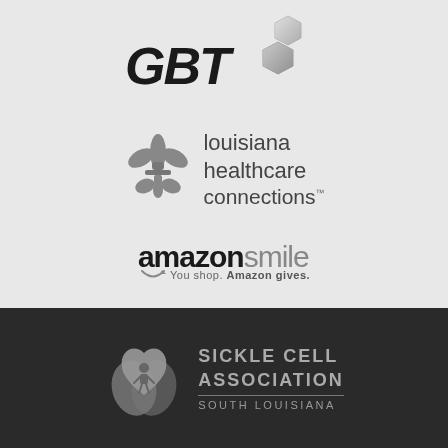[Figure (logo): GBT logo with bold italic text and 3D hexagon shapes]
[Figure (logo): Louisiana Healthcare Connections logo with fleur-de-lis symbol]
[Figure (logo): AmazonSmile logo with tagline 'You shop. Amazon gives.']
[Figure (logo): Sickle Cell Association South Louisiana logo with heart/figure icon on dark background]